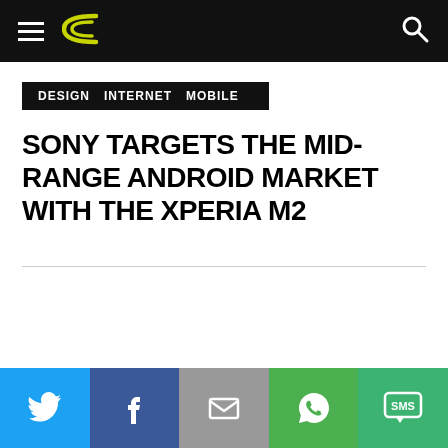DESIGN  INTERNET  MOBILE
SONY TARGETS THE MID-RANGE ANDROID MARKET WITH THE XPERIA M2
[Figure (other): Social share bar with Twitter, Facebook, Email, WhatsApp, and SMS icons]